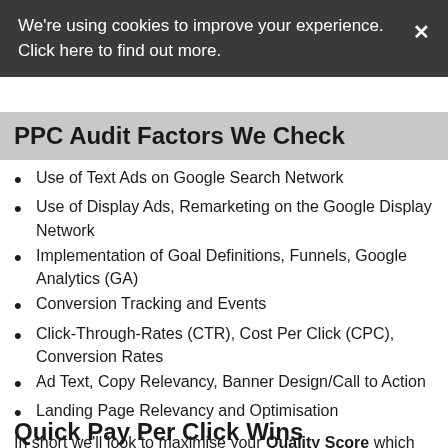We're using cookies to improve your experience. Click here to find out more.
PPC Audit Factors We Check
Use of Text Ads on Google Search Network
Use of Display Ads, Remarketing on the Google Display Network
Implementation of Goal Definitions, Funnels, Google Analytics (GA)
Conversion Tracking and Events
Click-Through-Rates (CTR), Cost Per Click (CPC), Conversion Rates
Ad Text, Copy Relevancy, Banner Design/Call to Action
Landing Page Relevancy and Optimisation
In short we'll look to maximise your Quality Score which means you'll get more "bang for your AdWords buck"
Quick Pay Per Click Wins